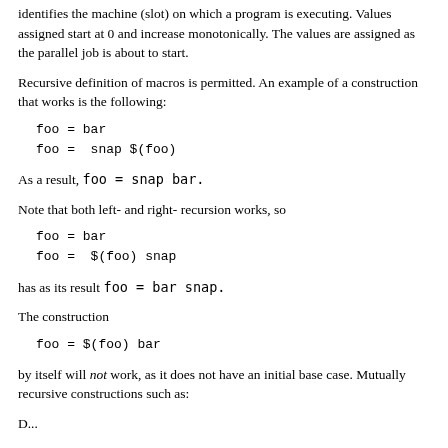identifies the machine (slot) on which a program is executing. Values assigned start at 0 and increase monotonically. The values are assigned as the parallel job is about to start.
Recursive definition of macros is permitted. An example of a construction that works is the following:
foo = bar
foo =  snap $(foo)
As a result, foo = snap bar.
Note that both left- and right- recursion works, so
foo = bar
foo =  $(foo) snap
has as its result foo = bar snap.
The construction
foo = $(foo) bar
by itself will not work, as it does not have an initial base case. Mutually recursive constructions such as:
D...